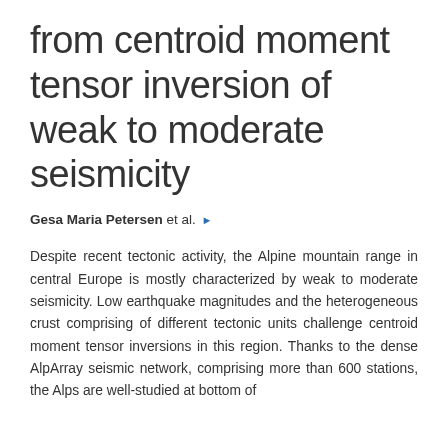from centroid moment tensor inversion of weak to moderate seismicity
Gesa Maria Petersen et al. ▶
Despite recent tectonic activity, the Alpine mountain range in central Europe is mostly characterized by weak to moderate seismicity. Low earthquake magnitudes and the heterogeneous crust comprising of different tectonic units challenge centroid moment tensor inversions in this region. Thanks to the dense AlpArray seismic network, comprising more than 600 stations, the Alps are well-studied at bottom of page